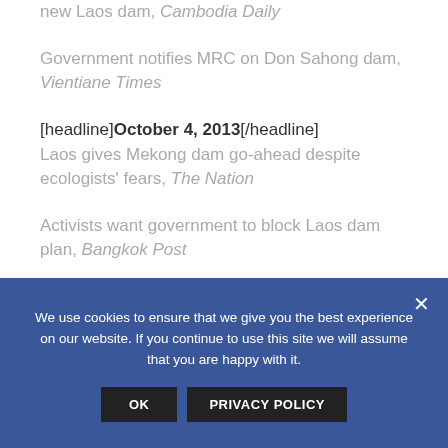new Laos dam, Cambodia Daily
Government notifies MRC on Don Sahong dam, Vientiane Times
[headline]October 4, 2013[/headline] Laos gives Mekong dam go-ahead despite ecologists' fears, The Nation
Activists want government to block Laos dam plan, Bangkok Post
We use cookies to ensure that we give you the best experience on our website. If you continue to use this site we will assume that you are happy with it.